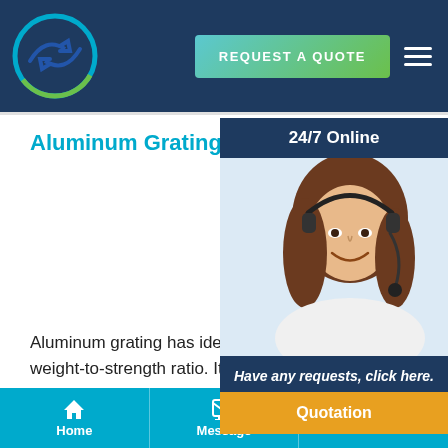[Figure (logo): Circular logo with blue and green arrow graphic on dark navy background]
REQUEST A QUOTE
Aluminum Grating
[Figure (photo): 24/7 Online widget showing a smiling woman with headset, with text 'Have any requests, click here.' and a Quotation button]
Aluminum grating has ideal corrosion res... best weight-to-strength ratio. It is widely... harsh environments like industrial plants, and...
Home   Message   E-mail